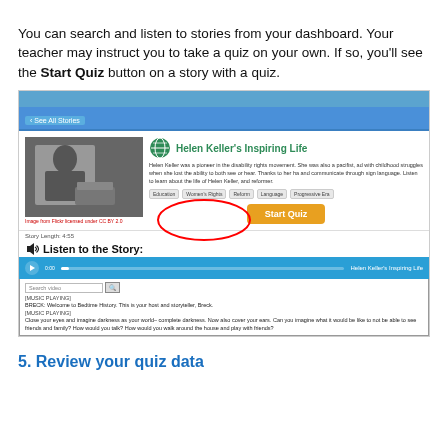You can search and listen to stories from your dashboard. Your teacher may instruct you to take a quiz on your own. If so, you'll see the Start Quiz button on a story with a quiz.
[Figure (screenshot): Screenshot of a story page showing Helen Keller's Inspiring Life with a Start Quiz button circled in red, a photo of Helen Keller, story description, tags (Education, Women's Rights, Reform, Language, Progressive Era), story length 4:55, Listen to the Story section with audio player, and transcript showing [MUSIC PLAYING], BRECK: Welcome to Bedtime History text.]
5. Review your quiz data